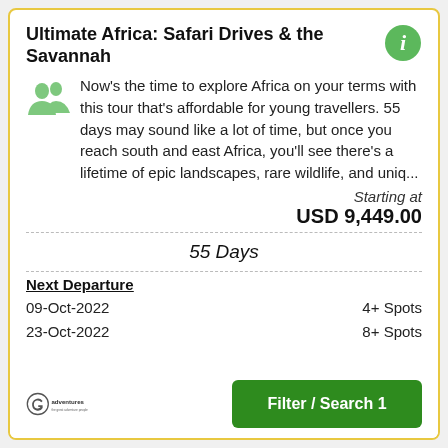Ultimate Africa: Safari Drives & the Savannah
Now's the time to explore Africa on your terms with this tour that's affordable for young travellers. 55 days may sound like a lot of time, but once you reach south and east Africa, you'll see there's a lifetime of epic landscapes, rare wildlife, and uniq...
Starting at
USD 9,449.00
55 Days
Next Departure
09-Oct-2022   4+ Spots
23-Oct-2022   8+ Spots
[Figure (logo): G Adventures logo - the great adventure people]
Filter / Search 1